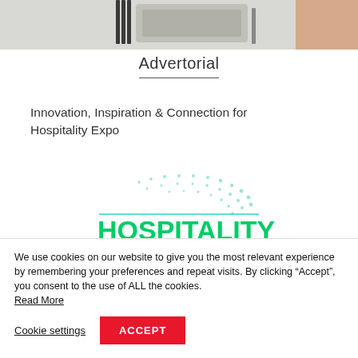[Figure (photo): Partial view of a laptop or electronic device on a desk, cropped at the top of the page]
Advertorial
Innovation, Inspiration & Connection for Hospitality Expo
[Figure (logo): Hospitality Expo 2020 logo with teal and green text and dotted arc graphic]
We use cookies on our website to give you the most relevant experience by remembering your preferences and repeat visits. By clicking “Accept”, you consent to the use of ALL the cookies. Read More
Cookie settings | ACCEPT